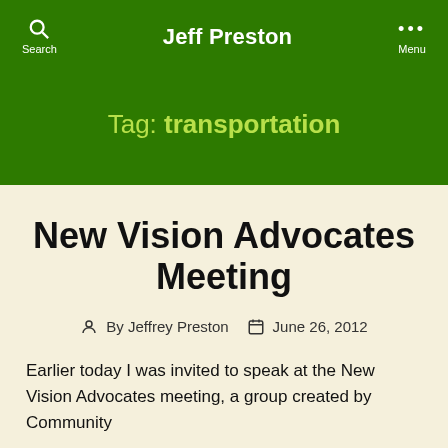Jeff Preston
Tag: transportation
New Vision Advocates Meeting
By Jeffrey Preston   June 26, 2012
Earlier today I was invited to speak at the New Vision Advocates meeting, a group created by Community